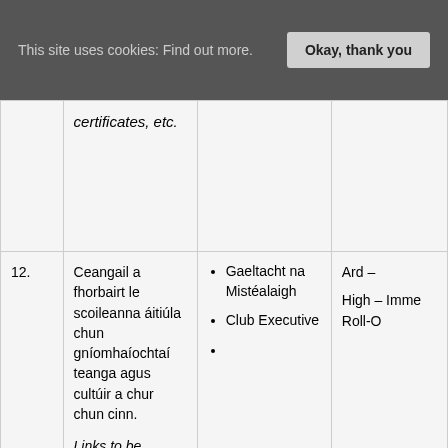This site uses cookies: Find out more.   Okay, thank you
| # | Description | Stakeholders | Level |
| --- | --- | --- | --- |
|  | certificates, etc. |  |  |
| 12. | Ceangail a fhorbairt le scoileanna áitiúla chun gníomhaíochtaí teanga agus cultúir a chur chun cinn.

Links to be developed with local schools to promote Irish | • Gaeltacht na Mistéalaigh
• Club Executive
• | Ard –

High – Imme Roll-O |